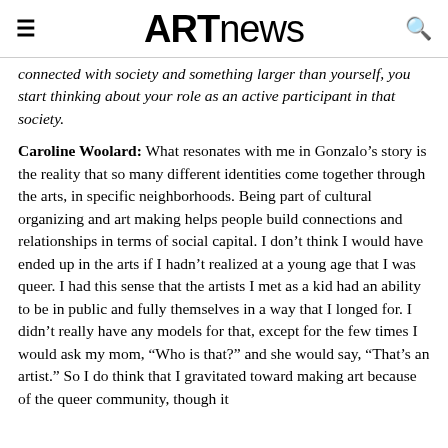ARTnews
connected with society and something larger than yourself, you start thinking about your role as an active participant in that society.
Caroline Woolard: What resonates with me in Gonzalo’s story is the reality that so many different identities come together through the arts, in specific neighborhoods. Being part of cultural organizing and art making helps people build connections and relationships in terms of social capital. I don’t think I would have ended up in the arts if I hadn’t realized at a young age that I was queer. I had this sense that the artists I met as a kid had an ability to be in public and fully themselves in a way that I longed for. I didn’t really have any models for that, except for the few times I would ask my mom, “Who is that?” and she would say, “That’s an artist.” So I do think that I gravitated toward making art because of the queer community, though it